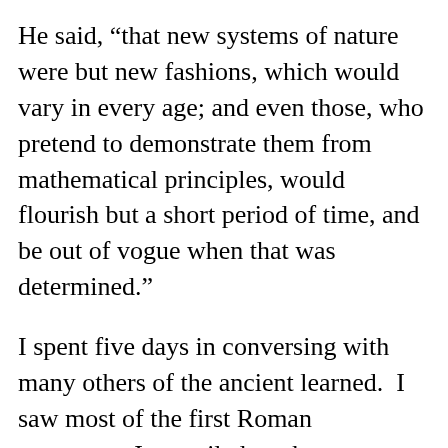He said, “that new systems of nature were but new fashions, which would vary in every age; and even those, who pretend to demonstrate them from mathematical principles, would flourish but a short period of time, and be out of vogue when that was determined.”
I spent five days in conversing with many others of the ancient learned.  I saw most of the first Roman emperors.  I prevailed on the governor to call up Heliogabalus’s cooks to dress us a dinner, but they could not show us much of their skill, for want of materials.  A helot of Agesilaus made us a dish of Spartan broth, but I was not able to get down a second